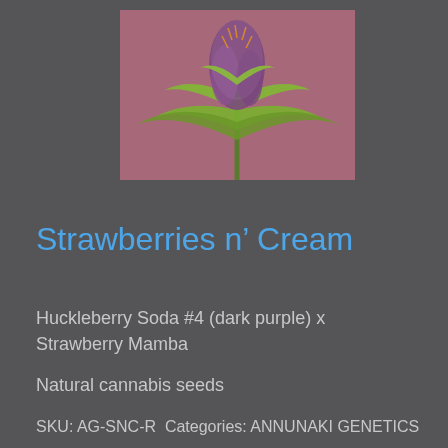[Figure (photo): Close-up photo of a cannabis plant in flower with purple buds and yellow-green leaves, against a pink/purple background]
Strawberries n’ Cream
Huckleberry Soda #4 (dark purple) x Strawberry Mamba
Natural cannabis seeds
SKU: AG-SNC-R Categories: ANNUNAKI GENETICS